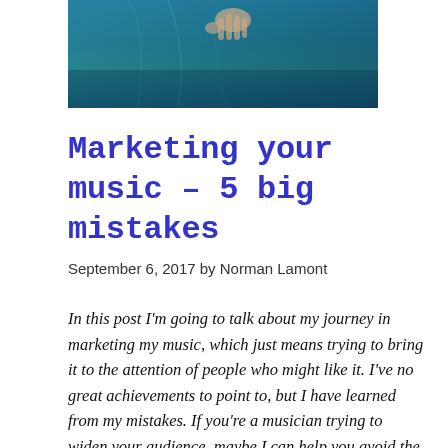[Figure (photo): Partial photo showing a person in blue/teal clothing with a hand visible against a dark blue-green background, cropped at top]
Marketing your music – 5 big mistakes
September 6, 2017 by Norman Lamont
In this post I'm going to talk about my journey in marketing my music, which just means trying to bring it to the attention of people who might like it. I've no great achievements to point to, but I have learned from my mistakes. If you're a musician trying to widen your audience, maybe I can help you avoid the same mistakes.  The pics are from my blog archives.